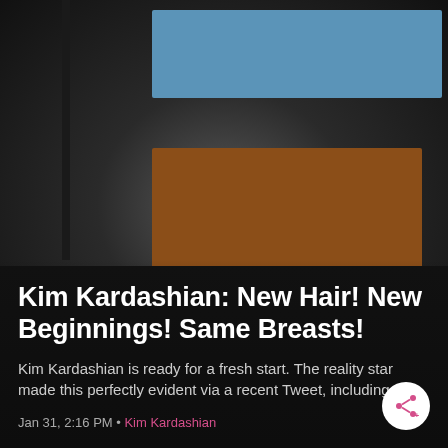[Figure (screenshot): Blurred background image showing a blue rectangle at top, a brown/orange rectangle in the middle, and a dark greenish rectangle at bottom, on a dark grey gradient background. Left side has a thin dark vertical stripe.]
Kim Kardashian: New Hair! New Beginnings! Same Breasts!
Kim Kardashian is ready for a fresh start. The reality star made this perfectly evident via a recent Tweet, including …
Jan 31, 2:16 PM • Kim Kardashian